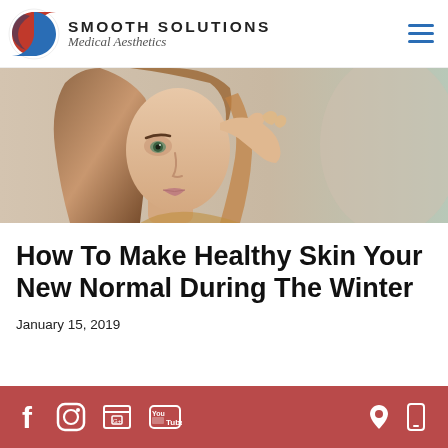Smooth Solutions Medical Aesthetics
[Figure (photo): Young woman with long brown hair touching her cheek/face near eye area, looking at camera, soft background]
How To Make Healthy Skin Your New Normal During The Winter
January 15, 2019
Social media icons (Facebook, Instagram, Google, YouTube) on left; location and mobile icons on right